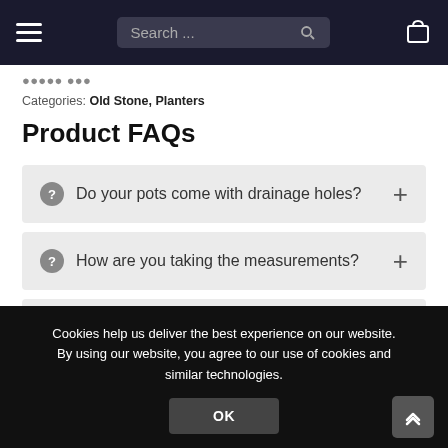Search ...
Categories: Old Stone, Planters
Product FAQs
Do your pots come with drainage holes?
How are you taking the measurements?
Cookies help us deliver the best experience on our website. By using our website, you agree to our use of cookies and similar technologies.
OK